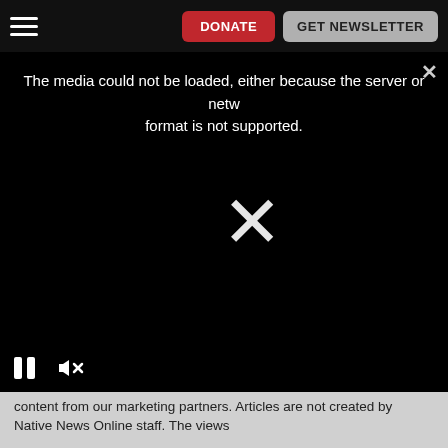DONATE | GET NEWSLETTER
[Figure (screenshot): Video player showing error message: 'The media could not be loaded, either because the server or network failed or because the format is not supported.' with a large X icon in the center, pause and mute controls at the bottom left, and a close button at the top right. Black background.]
content from our marketing partners. Articles are not created by Native News Online staff. The views